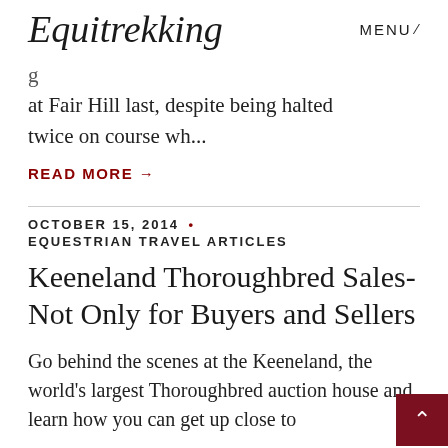Equitrekking  MENU
at Fair Hill last, despite being halted twice on course wh...
READ MORE →
OCTOBER 15, 2014 • EQUESTRIAN TRAVEL ARTICLES
Keeneland Thoroughbred Sales- Not Only for Buyers and Sellers
Go behind the scenes at the Keeneland, the world's largest Thoroughbred auction house and learn how you can get up close to